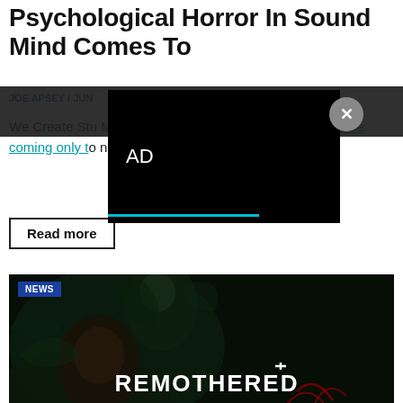Psychological Horror In Sound Mind Comes To
JOE APSEY / JUN
We Create Stu... Mind, a new psychological horror title will be coming only to next-gen for PS5 in 2021.
[Figure (screenshot): Black advertisement overlay panel with 'AD' text and a circular close button (x) in the top right]
Read more
[Figure (photo): Remothered game promotional image showing a woman's face on the left and a dark creature figure above, with REMOTHERED text logo in white on the right, NEWS tag in blue top left]